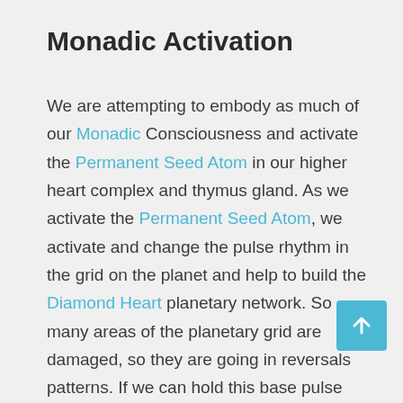Monadic Activation
We are attempting to embody as much of our Monadic Consciousness and activate the Permanent Seed Atom in our higher heart complex and thymus gland. As we activate the Permanent Seed Atom, we activate and change the pulse rhythm in the grid on the planet and help to build the Diamond Heart planetary network. So many areas of the planetary grid are damaged, so they are going in reversals patterns. If we can hold this base pulse rhythm, we create a circumference in an area where we can literally create a safe zone. We are being asked create a safe zone by Guardian contacts. If we can embody this, we create a safe zone on the planet. The...